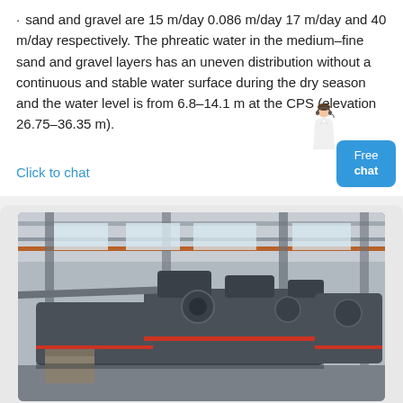sand and gravel are 15 m/day 0.086 m/day 17 m/day and 40 m/day respectively. The phreatic water in the medium–fine sand and gravel layers has an uneven distribution without a continuous and stable water surface during the dry season and the water level is from 6.8–14.1 m at the CPS (elevation 26.75–36.35 m).
Click to chat
[Figure (photo): Industrial machinery — large grey crushing/processing machines on a factory floor inside a warehouse with steel columns and roof structure.]